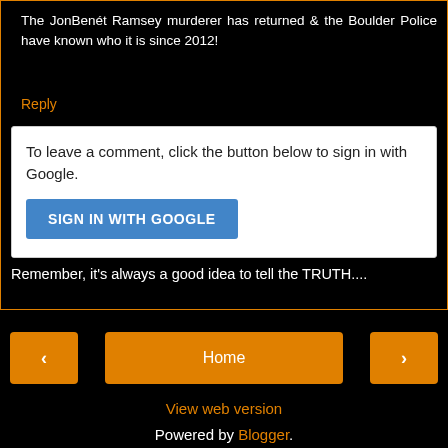The JonBenét Ramsey murderer has returned & the Boulder Police have known who it is since 2012!
Reply
To leave a comment, click the button below to sign in with Google.
SIGN IN WITH GOOGLE
NO TROLLS ALLOWED - Comments will be moderated - Remember, it's always a good idea to tell the TRUTH....
‹
Home
›
View web version
Powered by Blogger.